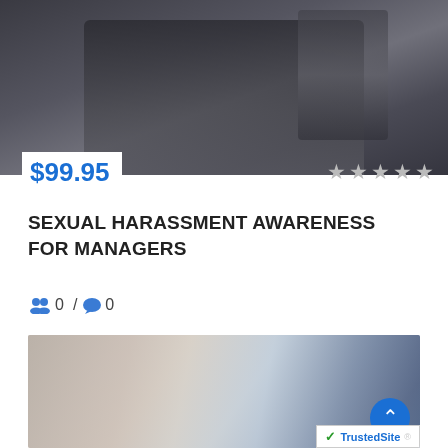[Figure (photo): Blurred photo of a person with arms crossed, suggesting workplace tension or discomfort]
$99.95
[Figure (other): 5 star rating icons (hollow/grey stars)]
SEXUAL HARASSMENT AWARENESS FOR MANAGERS
0 / 0
[Figure (photo): Photo of a woman holding a clipboard with hand raised in a stop gesture, another person reaching toward her]
[Figure (logo): TrustedSite badge with green checkmark]